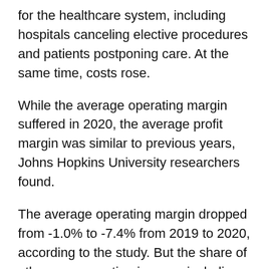for the healthcare system, including hospitals canceling elective procedures and patients postponing care. At the same time, costs rose.
While the average operating margin suffered in 2020, the average profit margin was similar to previous years, Johns Hopkins University researchers found.
The average operating margin dropped from -1.0% to -7.4% from 2019 to 2020, according to the study. But the share of other non-operating income, including relief funding, grew almost six percentage points from 4.4% to 10.3%.
The average profit margin “remained stable” compared to data from previous years, the study says. Researchers assessed the finances